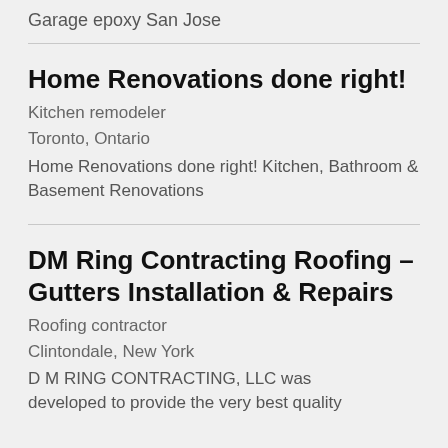Garage epoxy San Jose
Home Renovations done right!
Kitchen remodeler
Toronto, Ontario
Home Renovations done right! Kitchen, Bathroom & Basement Renovations
DM Ring Contracting Roofing – Gutters Installation & Repairs
Roofing contractor
Clintondale, New York
D M RING CONTRACTING, LLC was developed to provide the very best quality